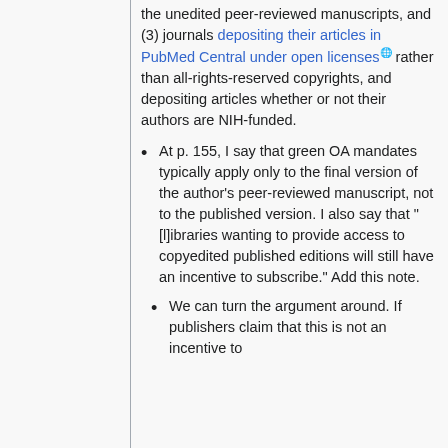the unedited peer-reviewed manuscripts, and (3) journals depositing their articles in PubMed Central under open licenses rather than all-rights-reserved copyrights, and depositing articles whether or not their authors are NIH-funded.
At p. 155, I say that green OA mandates typically apply only to the final version of the author's peer-reviewed manuscript, not to the published version. I also say that "[l]ibraries wanting to provide access to copyedited published editions will still have an incentive to subscribe." Add this note.
We can turn the argument around. If publishers claim that this is not an incentive to